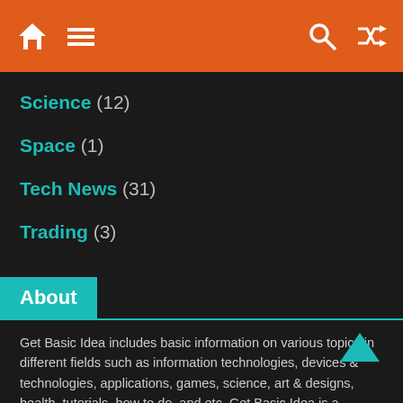Navigation header with home, menu, search, and shuffle icons
Science (12)
Space (1)
Tech News (31)
Trading (3)
About
Get Basic Idea includes basic information on various topics in different fields such as information technologies, devices & technologies, applications, games, science, art & designs, health, tutorials, how to do, and etc. Get Basic Idea is a knowledge base.
About Us | Contact Us